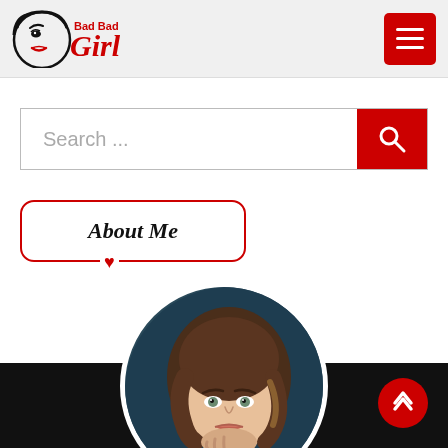Bad Bad Girl — site header with logo and hamburger menu
Search ...
About Me
[Figure (photo): Circular cropped portrait photo of a woman with shoulder-length wavy brown hair, resting her chin on her hand, against a dark teal/blue background]